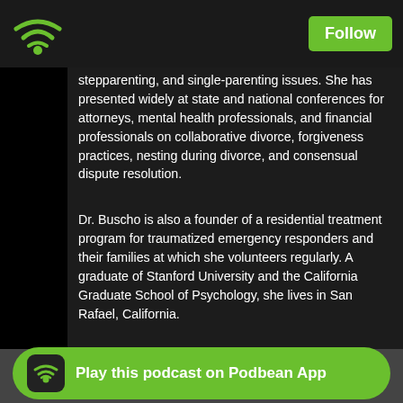Follow
stepparenting, and single-parenting issues. She has presented widely at state and national conferences for attorneys, mental health professionals, and financial professionals on collaborative divorce, forgiveness practices, nesting during divorce, and consensual dispute resolution.
Dr. Buscho is also a founder of a residential treatment program for traumatized emergency responders and their families at which she volunteers regularly. A graduate of Stanford University and the California Graduate School of Psychology, she lives in San Rafael, California.
Ann writes regularly for Psychology Today (www.… e?ernl)… a frequent guest on podcasts and media …
[Figure (screenshot): Play this podcast on Podbean App banner at bottom of screen]